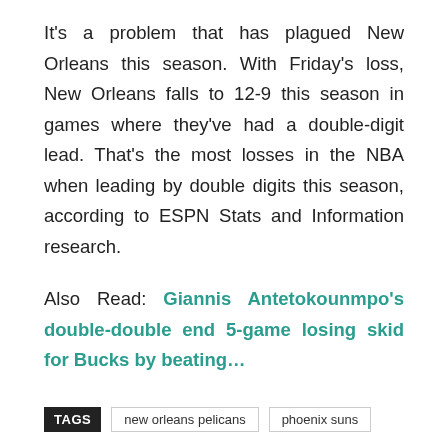It's a problem that has plagued New Orleans this season. With Friday's loss, New Orleans falls to 12-9 this season in games where they've had a double-digit lead. That's the most losses in the NBA when leading by double digits this season, according to ESPN Stats and Information research.
Also Read: Giannis Antetokounmpo's double-double end 5-game losing skid for Bucks by beating…
TAGS  new orleans pelicans  phoenix suns